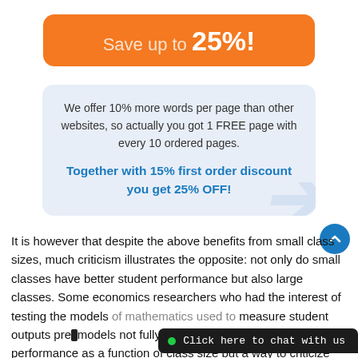[Figure (infographic): Orange rounded banner saying 'Save up to 25%!']
We offer 10% more words per page than other websites, so actually you got 1 FREE page with every 10 ordered pages.
Together with 15% first order discount you get 25% OFF!
It is however that despite the above benefits from small class sizes, much criticism illustrates the opposite: not only do small classes have better student performance but also large classes. Some economics researchers who had the interest of testing the models of mathematics used to measure student outputs pre[...] models not fully dedicated to measuring student performance as a function of class size but a way to criticize better performance of small classes. Moreover, political influences criticize claims on better performance of small